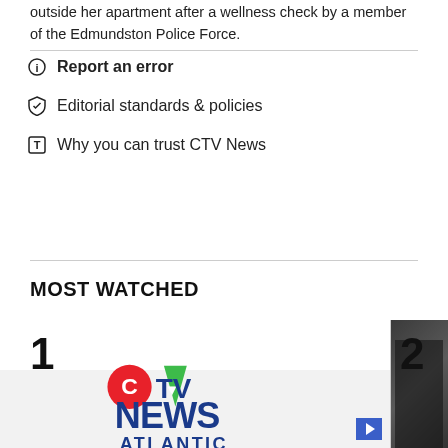outside her apartment after a wellness check by a member of the Edmundston Police Force.
Report an error
Editorial standards & policies
Why you can trust CTV News
MOST WATCHED
[Figure (logo): CTV News Atlantic logo with number 1 ranking indicator]
[Figure (photo): Partially visible image with number 2 ranking indicator]